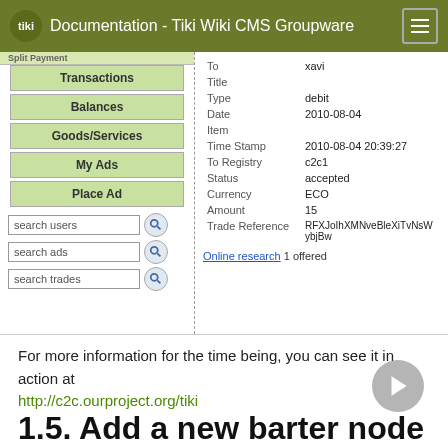Documentation - Tiki Wiki CMS Groupware
[Figure (screenshot): Screenshot of a Tiki Wiki barter/exchange interface showing a left navigation panel with menu items (Transactions, Balances, Goods/Services, My Ads, Place Ad, search users, search ads, search trades) and a right panel showing transaction detail fields: To: xavi, Title, Type: debit, Date: 2010-08-04, Item, Time Stamp: 2010-08-04 20:39:27, To Registry: c2c1, Status: accepted, Currency: ECO, Amount: 15, Trade Reference: RFXJoIhXMNveBleXiTvNsWybjBw. Also shows 'Online research 1 offered' link at bottom.]
For more information for the time being, you can see it in action at
http://c2c.ourproject.org/tiki
1.5. Add a new barter node to the network